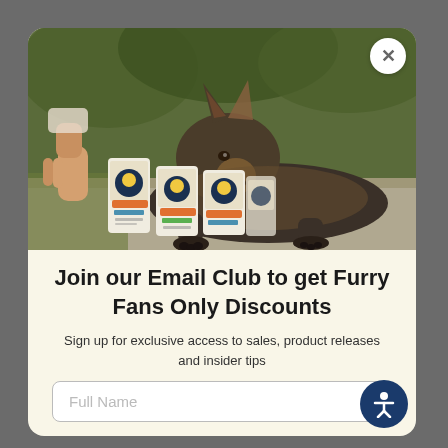[Figure (photo): A German Shepherd dog lying down and sniffing cartons of Ruta's Bone Broth dog food products, with a person's hand visible pouring/offering one of the cartons. Outdoor setting with green foliage background.]
Join our Email Club to get Furry Fans Only Discounts
Sign up for exclusive access to sales, product releases and insider tips
Full Name